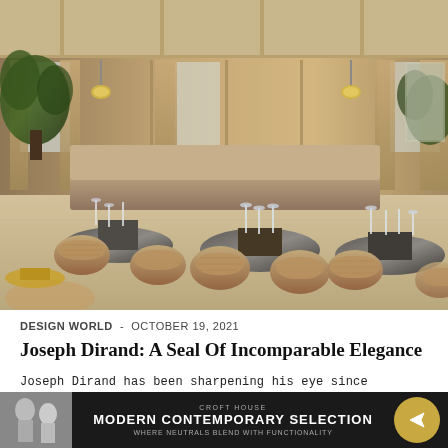[Figure (photo): Interior of an elegant restaurant with wicker chairs, round tables set with glassware and linen, warm beige and neutral tones, tall windows with drapes, pendant lighting, lush greenery in background.]
DESIGN WORLD  -  OCTOBER 19, 2021
Joseph Dirand: A Seal Of Incomparable Elegance
Joseph Dirand has been sharpening his eye since childhood, he knows how to see, a rare quality indeed. He sees the space and perspective of a place. His sense of composition comes from his creative family backar...
[Figure (infographic): Advertisement banner: dark background with a decorative bust/statue image on the left, center text reads 'CROFT HOUSE / MODERN CONTEMPORARY SELECTION / WHERE NEUTRALS BLEND WITH FUNCTIONALITY', gold circular icon with paper airplane on the right.]